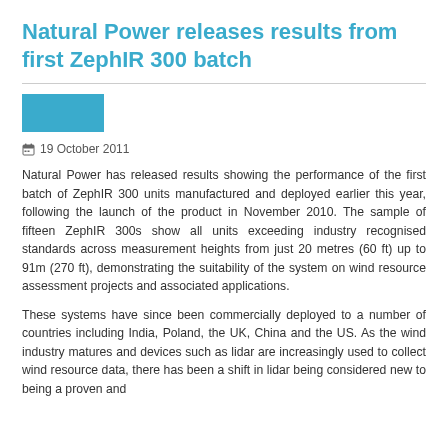Natural Power releases results from first ZephIR 300 batch
[Figure (illustration): Teal/cyan colored rectangular image placeholder]
19 October 2011
Natural Power has released results showing the performance of the first batch of ZephIR 300 units manufactured and deployed earlier this year, following the launch of the product in November 2010. The sample of fifteen ZephIR 300s show all units exceeding industry recognised standards across measurement heights from just 20 metres (60 ft) up to 91m (270 ft), demonstrating the suitability of the system on wind resource assessment projects and associated applications.
These systems have since been commercially deployed to a number of countries including India, Poland, the UK, China and the US. As the wind industry matures and devices such as lidar are increasingly used to collect wind resource data, there has been a shift in lidar being considered new to being a proven and